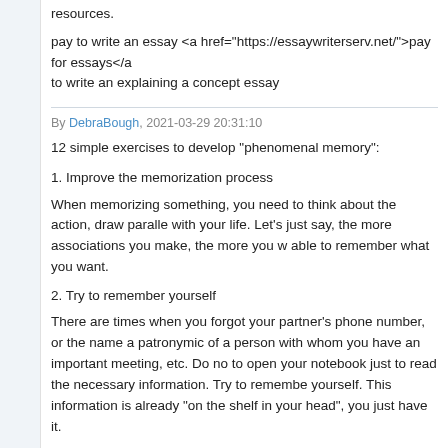resources.
pay to write an essay <a href="https://essaywriterserv.net/">pay for essays</a> to write an explaining a concept essay
By DebraBough, 2021-03-29 20:31:10
12 simple exercises to develop "phenomenal memory":
1. Improve the memorization process
When memorizing something, you need to think about the action, draw parallels with your life. Let's just say, the more associations you make, the more you will be able to remember what you want.
2. Try to remember yourself
There are times when you forgot your partner's phone number, or the name and patronymic of a person with whom you have an important meeting, etc. Do not rush to open your notebook just to read the necessary information. Try to remember it yourself. This information is already "on the shelf in your head", you just have to find it.
3. Create similar looks
If you need to remember something important, try to create an image in your mind that is associated with what you need to remember. It will be easier for the brain to do this.